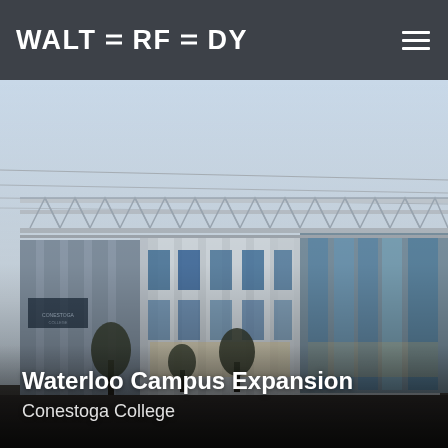WALTERFEDY
[Figure (photo): Exterior photograph of Conestoga College Waterloo Campus Expansion building at dusk/evening, showing a modern multi-storey building facade with vertical metal/glass cladding panels, large glass windows, an exposed steel truss canopy/roof structure along the top, and trees in the foreground. Sky is pale blue-grey.]
Waterloo Campus Expansion
Conestoga College